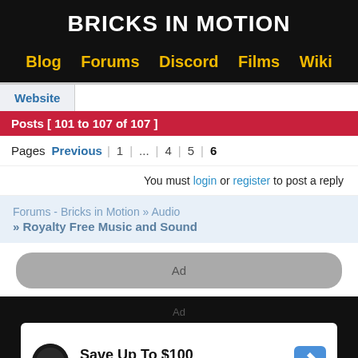BRICKS IN MOTION
Blog   Forums   Discord   Films   Wiki
Website
Posts [ 101 to 107 of 107 ]
Pages  Previous  1  ...  4  5  6
You must login or register to post a reply
Forums - Bricks in Motion » Audio » Royalty Free Music and Sound
[Figure (other): Ad placeholder box]
[Figure (other): Advertisement card: Save Up To $100 - Virginia Tire & Auto of Ashbur...]